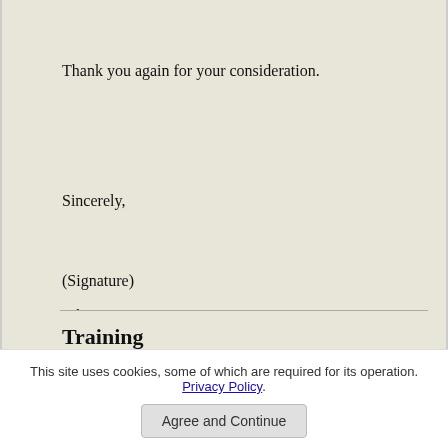Thank you again for your consideration.
Sincerely,
(Signature)
John Doe
Enc. Resume
Training
A bachelor's degree is the minimum for this position.
This site uses cookies, some of which are required for its operation. Privacy Policy.